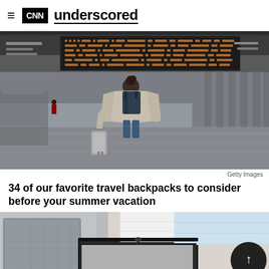CNN underscored
[Figure (photo): Person with backpack and rolling luggage standing in airport looking at departure board]
Getty Images
34 of our favorite travel backpacks to consider before your summer vacation
[Figure (photo): Packed luggage with folded clothes and packing cubes on a light background]